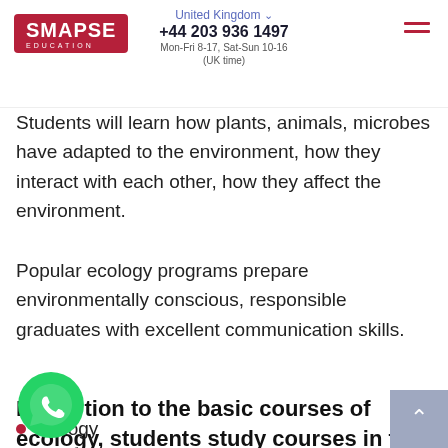SMAPSE EDUCATION | United Kingdom | +44 203 936 1497 | Mon-Fri 8-17, Sat-Sun 10-16 (UK time)
Students will learn how plants, animals, microbes have adapted to the environment, how they interact with each other, how they affect the environment.
Popular ecology programs prepare environmentally conscious, responsible graduates with excellent communication skills.
In addition to the basic courses of ecology, students study courses in the following a
Biology